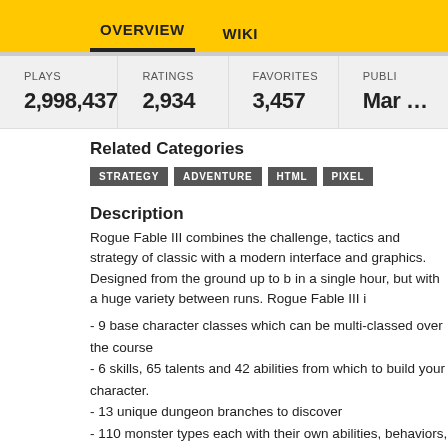OVERVIEW   WIKI
| PLAYS | RATINGS | FAVORITES | PUBLI... |
| --- | --- | --- | --- |
| 2,998,437 | 2,934 | 3,457 | Mar ... |
Related Categories
STRATEGY  ADVENTURE  HTML  PIXEL
Description
Rogue Fable III combines the challenge, tactics and strategy of classic with a modern interface and graphics. Designed from the ground up to be played in a single hour, but with a huge variety between runs. Rogue Fable III i
- 9 base character classes which can be multi-classed over the course
- 6 skills, 65 talents and 42 abilities from which to build your character.
- 13 unique dungeon branches to discover
- 110 monster types each with their own abilities, behaviors, strengths and weaknesses.
- 140 items to collect.
Rogue Fable III is now in active, continuous development on Steam Early Access and will be receiving updates, improvements, and new content there. This version is, nonetheless, a completed game in itself and will continue to